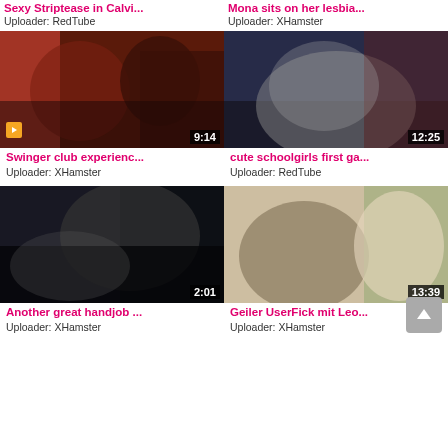Sexy Striptease in Calvi...
Uploader: RedTube
Mona sits on her lesbia...
Uploader: XHamster
[Figure (photo): Video thumbnail - Swinger club experience, duration 9:14]
[Figure (photo): Video thumbnail - cute schoolgirls first ga..., duration 12:25]
Swinger club experienc...
Uploader: XHamster
cute schoolgirls first ga...
Uploader: RedTube
[Figure (photo): Video thumbnail - Another great handjob ..., duration 2:01]
[Figure (photo): Video thumbnail - Geiler UserFick mit Leo..., duration 13:39]
Another great handjob ...
Uploader: XHamster
Geiler UserFick mit Leo...
Uploader: XHamster